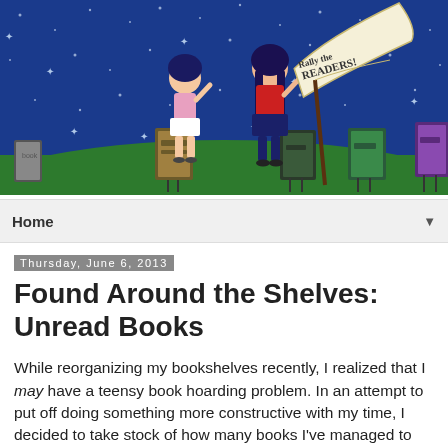[Figure (illustration): Blog header illustration showing two cartoon girls standing on a green hill under a blue starry night sky, with several animated book characters around them and a banner reading 'Rally the Readers!']
Home ▼
Thursday, June 6, 2013
Found Around the Shelves: Unread Books
While reorganizing my bookshelves recently, I realized that I may have a teensy book hoarding problem. In an attempt to put off doing something more constructive with my time, I decided to take stock of how many books I've managed to accumulate without ever reading them. Why do I buy books,